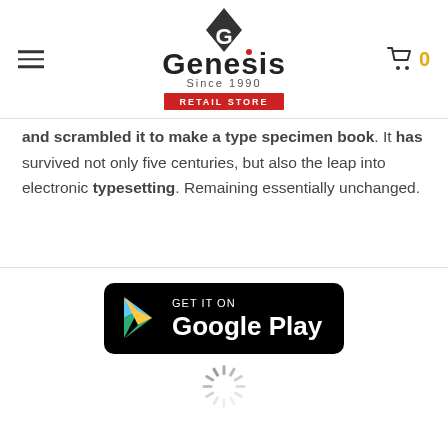Genesis Retail Store — Since 1990
and scrambled it to make a type specimen book. It has survived not only five centuries, but also the leap into electronic typesetting. Remaining essentially unchanged.
[Figure (logo): Google Play badge — black rounded rectangle with GET IT ON Google Play text and Play Store triangle logo]
[Figure (other): Loading spinner (animated circular spinner)]